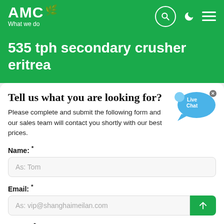AMC — What we do
535 tph secondary crusher eritrea
Tell us what you are looking for?
Please complete and submit the following form and our sales team will contact you shortly with our best prices.
Name: *
As: Tom
Email: *
As: vip@shanghaimeilan.com
Phone: *
With Country Code